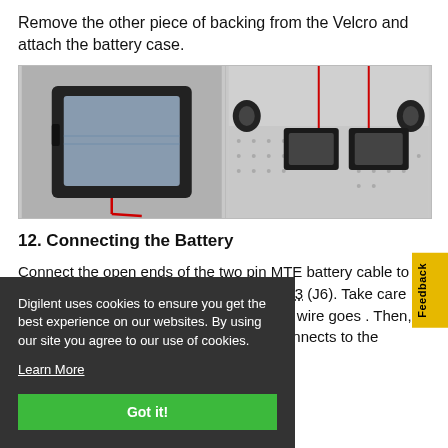Remove the other piece of backing from the Velcro and attach the battery case.
[Figure (photo): Two photos side by side: left shows a black battery case with Velcro backing on a gray surface with a red wire; right shows the battery case attached to a robot chassis on a perforated board, viewed from above.]
12. Connecting the Battery
Connect the open ends of the two pin MTE battery cable to the blue screw terminal on the PmodCON3 (J6). Take care that the red wire goes in the '+' side black wire goes . Then, attach the battery cable to K as shown connects to the connects to the
Digilent uses cookies to ensure you get the best experience on our websites. By using our site you agree to our use of cookies.
Learn More
Got it!